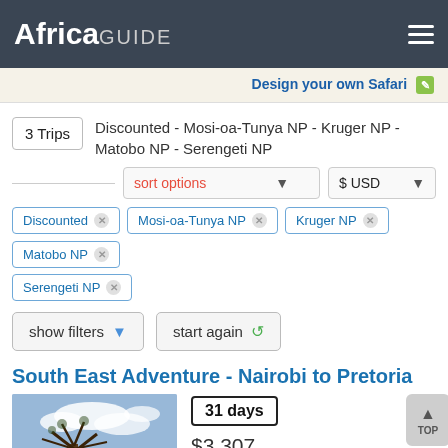Africa GUIDE
Design your own Safari
3 Trips  Discounted - Mosi-oa-Tunya NP - Kruger NP - Matobo NP - Serengeti NP
sort options  $ USD
Discounted ×
Mosi-oa-Tunya NP ×
Kruger NP ×
Matobo NP ×
Serengeti NP ×
show filters ▾   start again ↺
South East Adventure - Nairobi to Pretoria
[Figure (photo): Landscape photo showing a tree against a blue sky with buildings in background]
31 days
$3,307
was $3,481